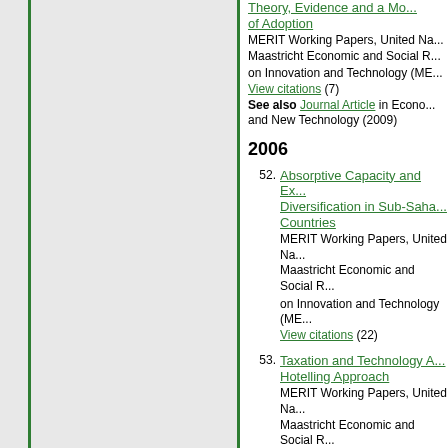Theory, Evidence and a Mo... of Adoption
MERIT Working Papers, United Na... Maastricht Economic and Social R... on Innovation and Technology (ME...
View citations (7)
See also Journal Article in Econo... and New Technology (2009)
2006
52. Absorptive Capacity and Ex... Diversification in Sub-Saha... Countries
MERIT Working Papers, United Na... Maastricht Economic and Social R... on Innovation and Technology (ME...
View citations (22)
53. Taxation and Technology A... Hotelling Approach
MERIT Working Papers, United Na... Maastricht Economic and Social R... on Innovation and Technology (ME...
54. Worker Remittances and G... Physical and Human Capita...
MERIT Working Papers, United Na... Maastricht Economic and Social R... on Innovation and Technology (ME...
View citations (33)